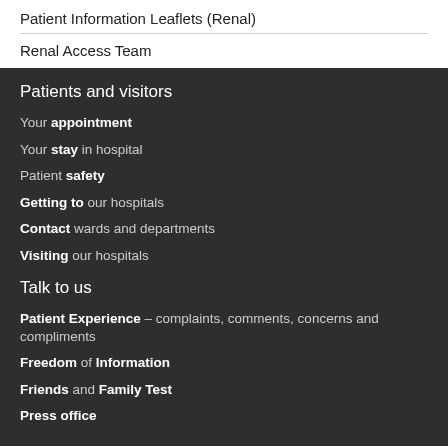Patient Information Leaflets (Renal)
Renal Access Team
Patients and visitors
Your appointment
Your stay in hospital
Patient safety
Getting to our hospitals
Contact wards and departments
Visiting our hospitals
Talk to us
Patient Experience – complaints, comments, concerns and compliments
Freedom of Information
Friends and Family Test
Press office